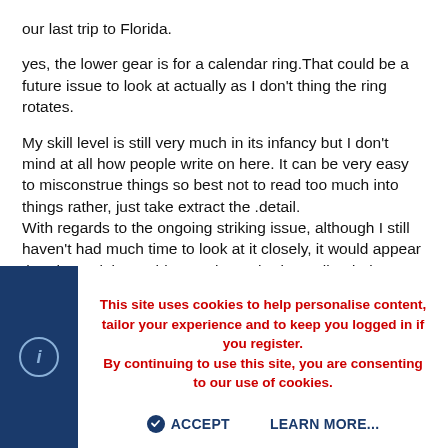our last trip to Florida.
yes, the lower gear is for a calendar ring.That could be a future issue to look at actually as I don't thing the ring rotates.
My skill level is still very much in its infancy but I don't mind at all how people write on here. It can be very easy to misconstrue things so best not to read too much into things rather, just take extract the .detail.
With regards to the ongoing striking issue, although I still haven't had much time to look at it closely, it would appear that the rack is catching on the gathering pallet during warning....preventing it from moving to the correct tooth for the hour and ultimately resulting in an incorrect number of blows being struck. I think I need to look closely at the gathering pallet and see if there is an option to alter its resting position.
This site uses cookies to help personalise content, tailor your experience and to keep you logged in if you register.
By continuing to use this site, you are consenting to our use of cookies.
ACCEPT
LEARN MORE...